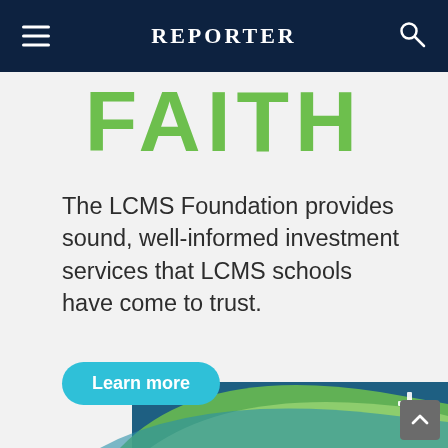Reporter
FAITH
The LCMS Foundation provides sound, well-informed investment services that LCMS schools have come to trust.
[Figure (illustration): A 'Learn more' button in teal/cyan with rounded corners, and decorative wave shapes in green and blue at bottom right, with a white cross symbol visible at bottom.]